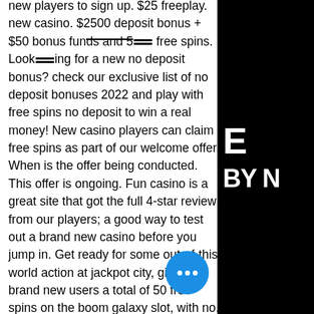new players to sign up. $25 freeplay. new casino. $2500 deposit bonus + $50 bonus funds and 50 free spins. Looking for a new no deposit bonus? check our exclusive list of no deposit bonuses 2022 and play with free spins no deposit to win a real money! New casino players can claim free spins as part of our welcome offer. When is the offer being conducted. This offer is ongoing. Fun casino is a great site that got the full 4-star review from our players; a good way to test out a brand new casino before you jump in. Get ready for some out-of-this-world action at jackpot city, giving brand new users a total of 50 free spins on the boom galaxy slot, with no. Claim our exclusive free spins no deposit casino bonuses for new indian customers. Some free spins offers have no wagering requirements and. Claim 10 free spins no deposit at clover casino. 100% safe and secure. Over 800+ uk slots to play. Discover new bonus offers from online casinos all over
[Figure (other): Blue circular chat button with three white dots, overlaid on the bottom-right of the text column]